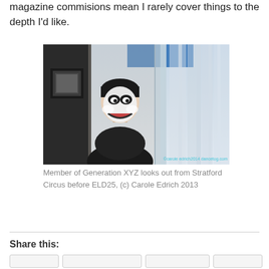magazine commisions mean I rarely cover things to the depth I'd like.
[Figure (photo): Person with white mime/clown face paint and dark hair looking out from behind a glass window or door at Stratford Circus. Photo credit to Carole Edrich 2013, watermark visible.]
Member of Generation XYZ looks out from Stratford Circus before ELD25, (c) Carole Edrich 2013
Share this: